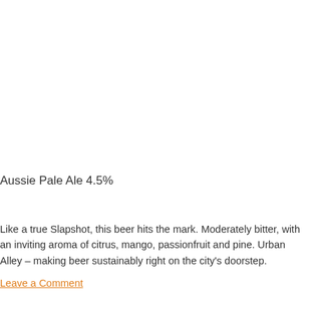Aussie Pale Ale 4.5%
Like a true Slapshot, this beer hits the mark. Moderately bitter, with an inviting aroma of citrus, mango, passionfruit and pine. Urban Alley – making beer sustainably right on the city's doorstep.
Leave a Comment